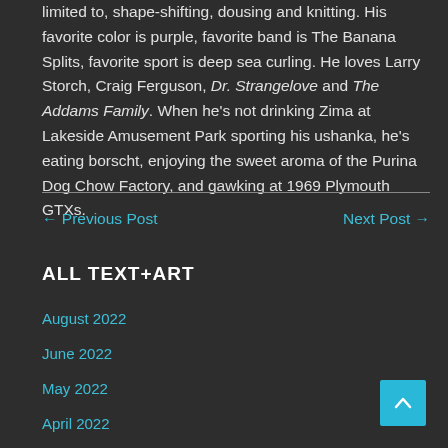limited to, shape-shifting, dousing and knitting. His favorite color is purple, favorite band is The Banana Splits, favorite sport is deep sea curling. He loves Larry Storch, Craig Ferguson, Dr. Strangelove and The Addams Family. When he's not drinking Zima at Lakeside Amusement Park sporting his ushanka, he's eating borscht, enjoying the sweet aroma of the Purina Dog Chow Factory, and gawking at 1969 Plymouth GTXs.
← Previous Post
Next Post →
ALL TEXT+ART
August 2022
June 2022
May 2022
April 2022